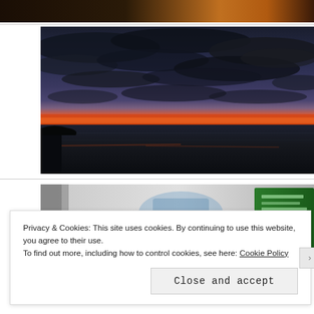[Figure (photo): Top strip of a dark photo visible at the very top of the page]
[Figure (photo): Sunset/dusk landscape photo showing a dramatic sky with dark clouds over a large body of water, with an orange and red horizon glow]
[Figure (photo): Partial photo of white product containers/boxes on a shelf, with a green labeled box visible on the right side]
Privacy & Cookies: This site uses cookies. By continuing to use this website, you agree to their use.
To find out more, including how to control cookies, see here: Cookie Policy
Close and accept